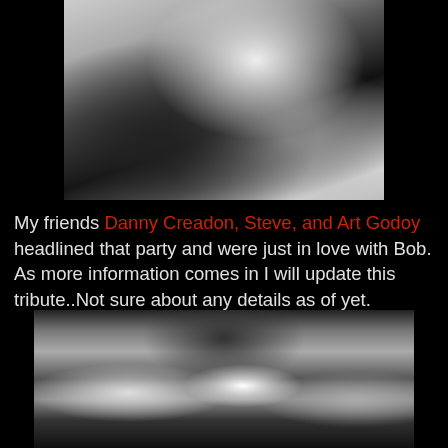[Figure (photo): Black and white close-up photo of musicians performing, showing dark curly hair and profile of performer]
My friends Danny Creadon, Steve, and Art Godoy headlined that party and were just in love with Bob. As more information comes in I will update this tribute..Not sure about any details as of yet.
[Figure (photo): Black and white photo of three band members performing on stage: guitarist in white t-shirt on left, vocalist with sunglasses in center, and another performer on right]